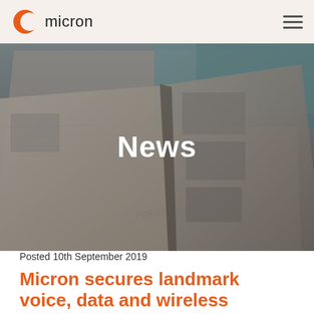[Figure (logo): Micron logo with orange crescent C icon and 'micron' text in dark/black]
[Figure (photo): Hero photo of open magazines/books with pages fanning, dark overlay, word 'News' in white bold text centered]
Posted 10th September 2019
Micron secures landmark voice, data and wireless